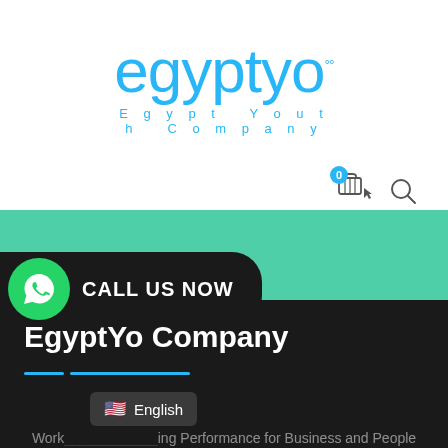[Figure (logo): egyptyo logo with 'Egypt Youth Company' subtitle in light blue on white background]
[Figure (screenshot): Green navigation bar with cart icon (badge 0) and search icon]
[Figure (infographic): WhatsApp green circle icon with CALL US NOW text on dark rounded pill button]
EgyptYo Company
[Figure (infographic): Language selector button showing US flag and English text]
Working Performance for Business and People